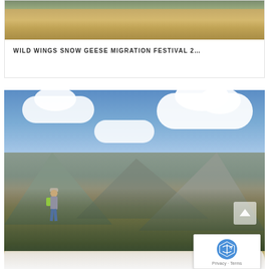[Figure (photo): Photo of a golden wheat/grass field with a green treeline at the top, viewed from a distance. Top portion of a blog card.]
WILD WINGS SNOW GEESE MIGRATION FESTIVAL 2…
[Figure (photo): A hiker with a green backpack stands on a rocky mountaintop foreground with alpine shrubs, looking out over a dramatic mountain landscape with jagged peaks and snow patches. A bright blue sky with large white cumulus clouds fills the upper portion.]